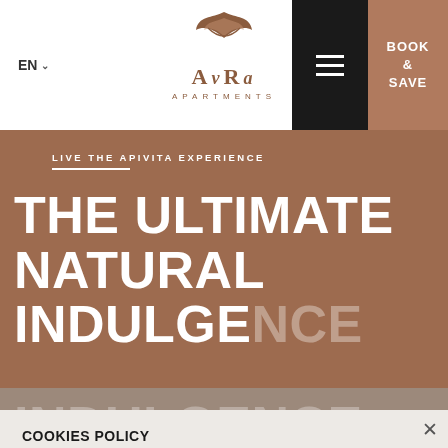EN | AvRa Apartments | BOOK & SAVE
LIVE THE APIVITA EXPERIENCE
THE ULTIMATE NATURAL INDULGENCE
COOKIES POLICY
This website uses cookies to improve browsing. Learn more about our company cookies policy. Do you agree with having cookies stored on your computer?
ACCEPT
DECLINE